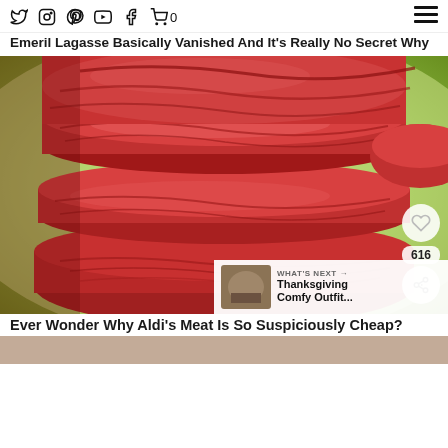Twitter Instagram Pinterest YouTube Facebook Cart 0 [hamburger menu]
Emeril Lagasse Basically Vanished And It's Really No Secret Why
[Figure (photo): Stack of raw red beef steaks piled on top of each other, with green background. Social sharing overlay with heart icon, 616 count, and share icon. 'What's Next' banner in bottom right with thumbnail and text 'Thanksgiving Comfy Outfit...']
Ever Wonder Why Aldi's Meat Is So Suspiciously Cheap?
[Figure (photo): Partial view of another article image at bottom of page, cut off]